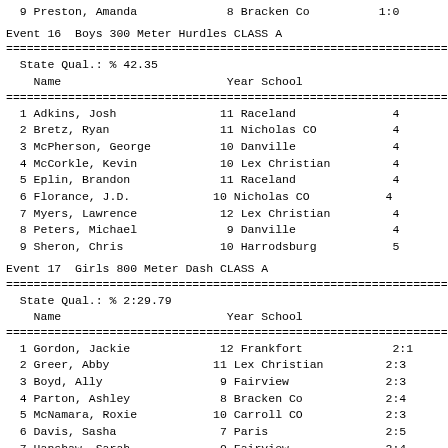| Place | Name | Year | School | Time |
| --- | --- | --- | --- | --- |
| 9 | Preston, Amanda | 8 | Bracken Co | 1:5... |
Event 16  Boys 300 Meter Hurdles CLASS A
| Name | Year | School | Finals |
| --- | --- | --- | --- |
| 1 Adkins, Josh | 11 | Raceland | 4... |
| 2 Bretz, Ryan | 11 | Nicholas CO | 4... |
| 3 McPherson, George | 10 | Danville | 4... |
| 4 McCorkle, Kevin | 10 | Lex Christian | 4... |
| 5 Eplin, Brandon | 11 | Raceland | 4... |
| 6 Florance, J.D. | 10 | Nicholas CO | 4... |
| 7 Myers, Lawrence | 12 | Lex Christian | 4... |
| 8 Peters, Michael | 9 | Danville | 4... |
| 9 Sheron, Chris | 10 | Harrodsburg | 5... |
Event 17  Girls 800 Meter Dash CLASS A
| Name | Year | School | Finals |
| --- | --- | --- | --- |
| 1 Gordon, Jackie | 12 | Frankfort | 2:1... |
| 2 Greer, Abby | 11 | Lex Christian | 2:3... |
| 3 Boyd, Ally | 9 | Fairview | 2:3... |
| 4 Parton, Ashley | 8 | Bracken Co | 2:4... |
| 5 McNamara, Roxie | 10 | Carroll CO | 2:3... |
| 6 Davis, Sasha | 7 | Paris | 2:5... |
| 7 Hanshaw, Sarah | 9 | Fairview | 2:4... |
| 8 Cattoi, Kristen | 7 | Sayre | 2:5... |